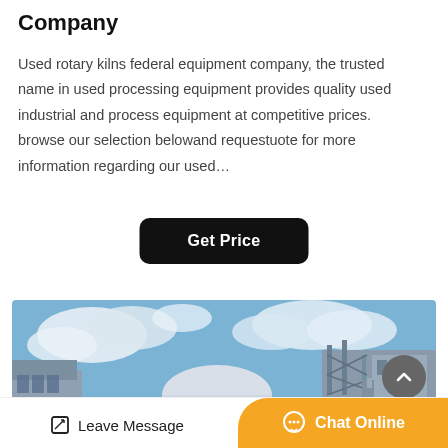Company
Used rotary kilns federal equipment company, the trusted name in used processing equipment provides quality used industrial and process equipment at competitive prices. browse our selection belowand requestuote for more information regarding our used…
[Figure (other): Black rounded rectangle button with white bold text reading 'Get Price']
[Figure (photo): Industrial facility photograph showing a large white rotary kiln with yellow bands in the foreground, with industrial structures, pipes, and a blue sky with clouds in the background.]
Leave Message   Chat Online